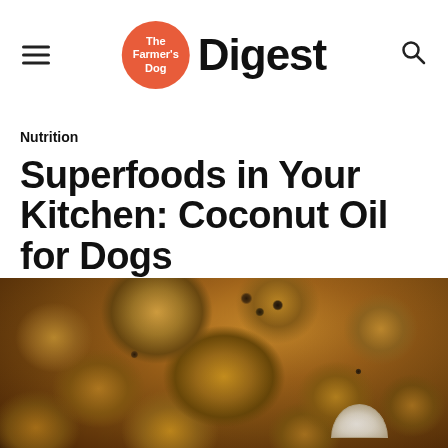The Farmer's Dog Digest
Nutrition
Superfoods in Your Kitchen: Coconut Oil for Dogs
[Figure (photo): Pile of whole brown coconuts with husks and fibrous texture, with one cracked open coconut half visible at the bottom right showing white flesh]